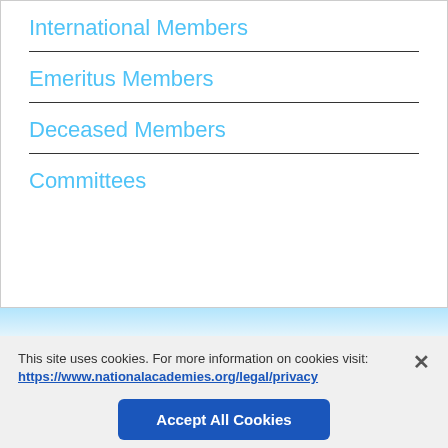International Members
Emeritus Members
Deceased Members
Committees
This site uses cookies. For more information on cookies visit: https://www.nationalacademies.org/legal/privacy
Accept All Cookies